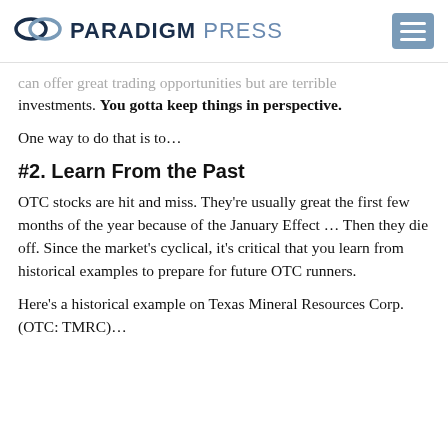PARADIGM PRESS
can offer great trading opportunities but are terrible investments. You gotta keep things in perspective.
One way to do that is to…
#2. Learn From the Past
OTC stocks are hit and miss. They're usually great the first few months of the year because of the January Effect … Then they die off. Since the market's cyclical, it's critical that you learn from historical examples to prepare for future OTC runners.
Here's a historical example on Texas Mineral Resources Corp. (OTC: TMRC)…